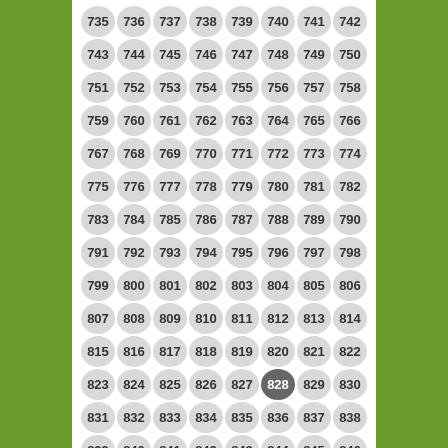[Figure (infographic): Grid of numbered circles from 735 to 846, with circle 828 highlighted in dark grey with white text. Background is olive/green on sides, white center panel.]